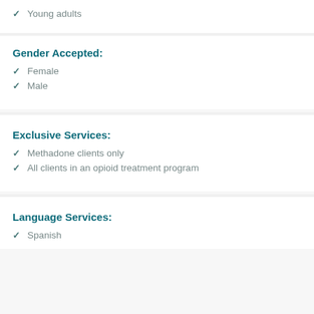Young adults
Gender Accepted:
Female
Male
Exclusive Services:
Methadone clients only
All clients in an opioid treatment program
Language Services:
Spanish